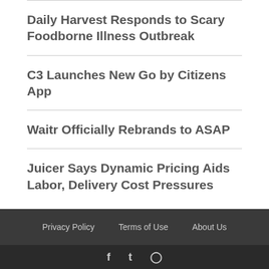Daily Harvest Responds to Scary Foodborne Illness Outbreak
C3 Launches New Go by Citizens App
Waitr Officially Rebrands to ASAP
Juicer Says Dynamic Pricing Aids Labor, Delivery Cost Pressures
Privacy Policy   Terms of Use   About Us